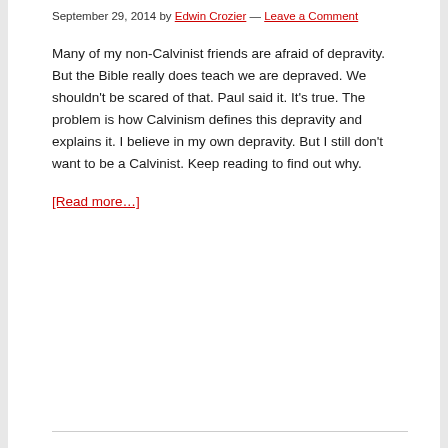September 29, 2014 by Edwin Crozier — Leave a Comment
Many of my non-Calvinist friends are afraid of depravity. But the Bible really does teach we are depraved. We shouldn't be scared of that. Paul said it. It's true. The problem is how Calvinism defines this depravity and explains it. I believe in my own depravity. But I still don't want to be a Calvinist. Keep reading to find out why.
[Read more…]